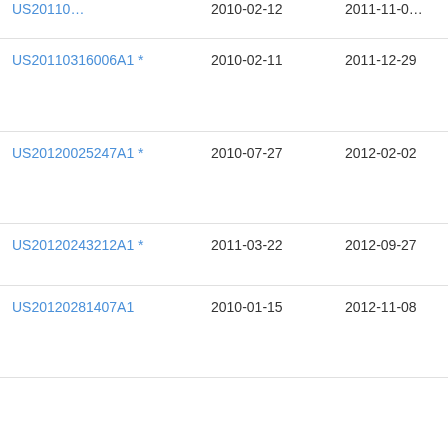| Patent | Priority Date | Publication Date | Assignee |
| --- | --- | --- | --- |
| US20110316006A1 * | 2010-02-11 | 2011-12-29 | Tac… |
| US20120025247A1 * | 2010-07-27 | 2012-02-02 | Nitt… Con… |
| US20120243212A1 * | 2011-03-22 | 2012-09-27 | Dav… |
| US20120281407A1 | 2010-01-15 | 2012-11-08 | Edw… Law… Sin… |
Family To Family Citations